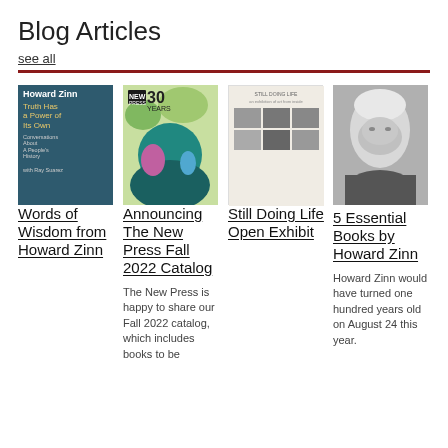Blog Articles
see all
[Figure (illustration): Book cover: Howard Zinn – Truth Has a Power of Its Own]
Words of Wisdom from Howard Zinn
[Figure (illustration): Book cover: New Press 30 Years catalog with colorful illustrated figure]
Announcing The New Press Fall 2022 Catalog
The New Press is happy to share our Fall 2022 catalog, which includes books to be
[Figure (illustration): Book cover: Still Doing Life Open Exhibit with photo grid]
Still Doing Life Open Exhibit
[Figure (photo): Black and white portrait photo of Howard Zinn]
5 Essential Books by Howard Zinn
Howard Zinn would have turned one hundred years old on August 24 this year.